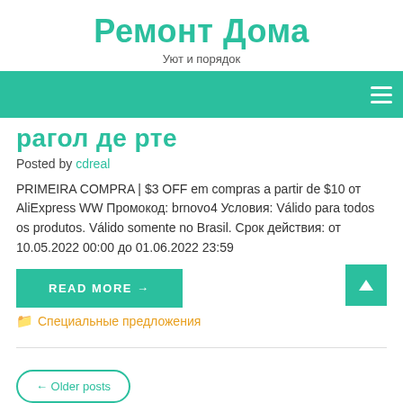Ремонт Дома
Уют и порядок
[Figure (other): Navigation bar with teal background and hamburger menu icon on the right]
рагол де рте
Posted by cdreal
PRIMEIRA COMPRA | $3 OFF em compras a partir de $10 от AliExpress WW Промокод: brnovo4 Условия: Válido para todos os produtos. Válido somente no Brasil. Срок действия: от 10.05.2022 00:00 до 01.06.2022 23:59
READ MORE →
Специальные предложения
← Older posts